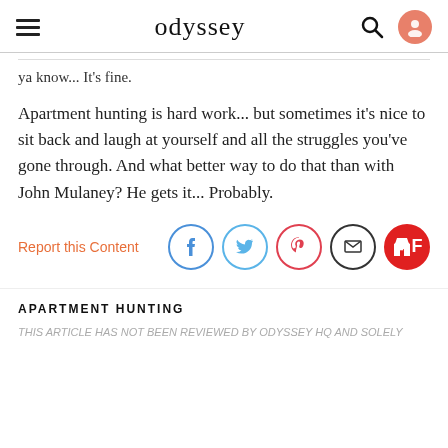odyssey
ya know... It's fine.
Apartment hunting is hard work... but sometimes it's nice to sit back and laugh at yourself and all the struggles you've gone through. And what better way to do that than with John Mulaney? He gets it... Probably.
Report this Content
APARTMENT HUNTING
THIS ARTICLE HAS NOT BEEN REVIEWED BY ODYSSEY HQ AND SOLELY